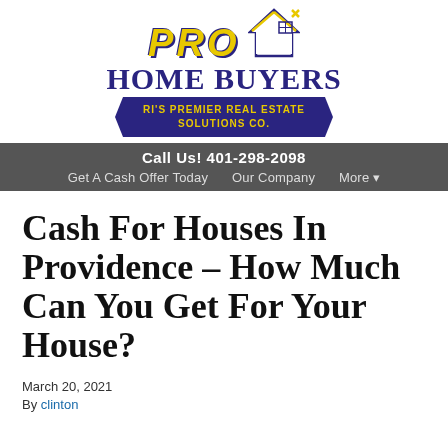[Figure (logo): PRO Home Buyers logo with house icon and banner reading RI's Premier Real Estate Solutions Co.]
Call Us! 401-298-2098
Get A Cash Offer Today   Our Company   More ▾
Cash For Houses In Providence – How Much Can You Get For Your House?
March 20, 2021
By clinton